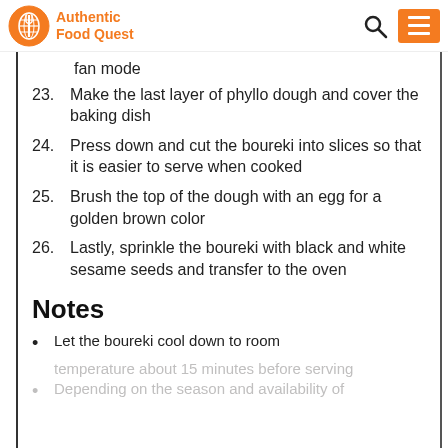Authentic Food Quest
fan mode
23. Make the last layer of phyllo dough and cover the baking dish
24. Press down and cut the boureki into slices so that it is easier to serve when cooked
25. Brush the top of the dough with an egg for a golden brown color
26. Lastly, sprinkle the boureki with black and white sesame seeds and transfer to the oven
Notes
Let the boureki cool down to room temperature about 15 minutes before serving
Depending on the season and availability of